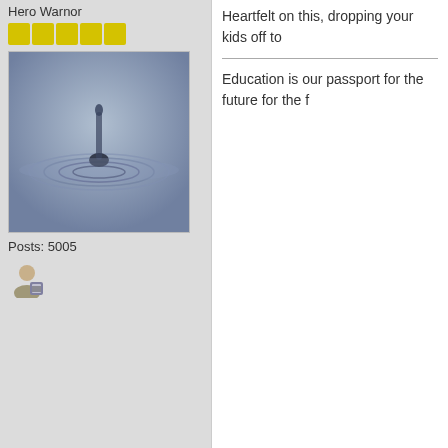Hero Warnor
[Figure (photo): Water droplet splash photo, grayscale/blue tones]
Posts: 5005
[Figure (illustration): User profile icon]
Heartfelt on this, dropping your kids off to
Education is our passport for the future for the f
Flex
Administrator
Hero Warrior
Posts: 17553
A Trini 4 Real.
[Figure (illustration): User profile icon and globe icon]
Re: Jlloyd Samuel
« Reply #51 on: May 17, 2018, 01:44:38
Jlloyd's son to carry on his legacy, Fa TTFA Media.
The family of former Trinidad and Tobago tribute to him describing him as a loving
His family released a statement via Ches